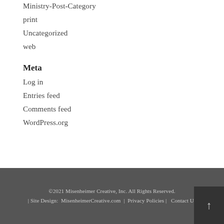[Figure (other): Hamburger menu icon (three horizontal lines in a circle), top right corner]
Ministry-Post-Category
print
Uncategorized
web
Meta
Log in
Entries feed
Comments feed
WordPress.org
©2021 Misenheimer Creative, Inc. All Rights Reserved. | Site Design:  MisenheimerCreative.com  |  Privacy Policies |   Contact Us